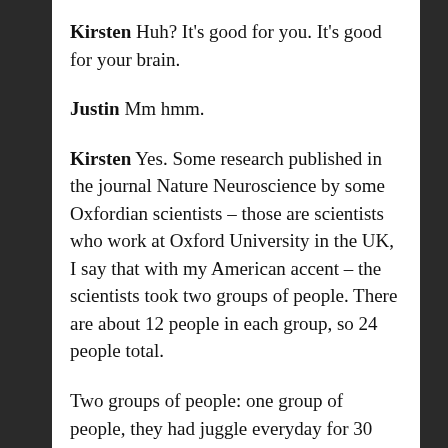Kirsten Huh? It's good for you. It's good for your brain.
Justin Mm hmm.
Kirsten Yes. Some research published in the journal Nature Neuroscience by some Oxfordian scientists – those are scientists who work at Oxford University in the UK, I say that with my American accent – the scientists took two groups of people. There are about 12 people in each group, so 24 people total.
Two groups of people: one group of people, they had juggle everyday for 30 minutes